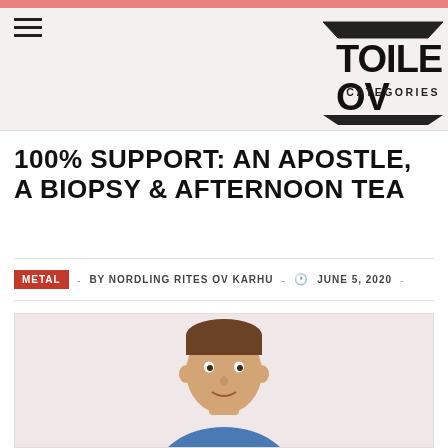CATEGORIES
100% SUPPORT: AN APOSTLE, A BIOPSY & AFTERNOON TEA
METAL - BY NORDLING RITES OV KARHU - JUNE 5, 2020 -
[Figure (photo): Person's face and upper body, partially visible at bottom of page]